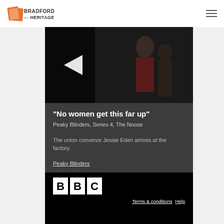Bradford My Heritage
[Figure (screenshot): Video thumbnail from Peaky Blinders showing a woman in period costume with a play button overlay on the left side]
"No women get this far up"
Peaky Blinders, Series 4, The Noose
The union convenor Jessie Eden arrives at the factory.
Peaky Blinders
[Figure (logo): BBC logo in white squares on black background]
Terms & conditions  Help